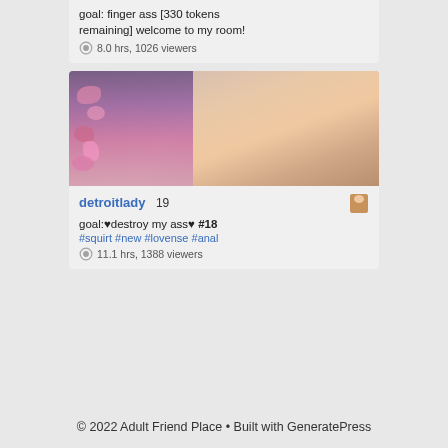goal: finger ass [330 tokens remaining] welcome to my room!
8.0 hrs, 1026 viewers
[Figure (photo): Partial webcam thumbnail showing a young woman with a sex toy]
detroitlady 19
goal:♥destroy my ass♥ #18 #squirt #new #lovense #anal
11.1 hrs, 1388 viewers
© 2022 Adult Friend Place • Built with GeneratePress